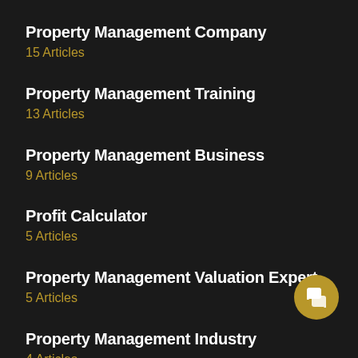Property Management Company
15 Articles
Property Management Training
13 Articles
Property Management Business
9 Articles
Profit Calculator
5 Articles
Property Management Valuation Expert
5 Articles
Property Management Industry
4 Articles